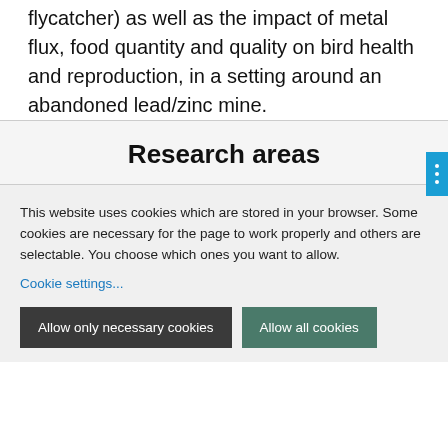flycatcher) as well as the impact of metal flux, food quantity and quality on bird health and reproduction, in a setting around an abandoned lead/zinc mine.
Research areas
This website uses cookies which are stored in your browser. Some cookies are necessary for the page to work properly and others are selectable. You choose which ones you want to allow.
Cookie settings...
Allow only necessary cookies
Allow all cookies